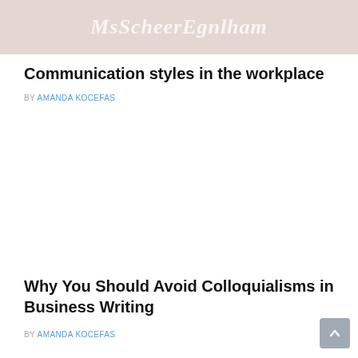[Figure (illustration): Header image with cursive/script text watermark on a light pinkish-gray background, reading something like 'MsScheerEgnlham']
Communication styles in the workplace
BY AMANDA KOCEFAS
[Figure (photo): Blank/white space placeholder for an article image]
Why You Should Avoid Colloquialisms in Business Writing
BY AMANDA KOCEFAS